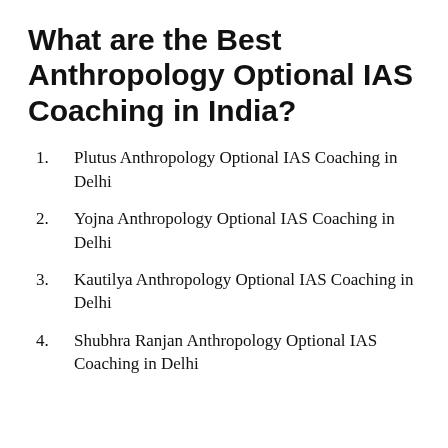What are the Best Anthropology Optional IAS Coaching in India?
Plutus Anthropology Optional IAS Coaching in Delhi
Yojna Anthropology Optional IAS Coaching in Delhi
Kautilya Anthropology Optional IAS Coaching in Delhi
Shubhra Ranjan Anthropology Optional IAS Coaching in Delhi